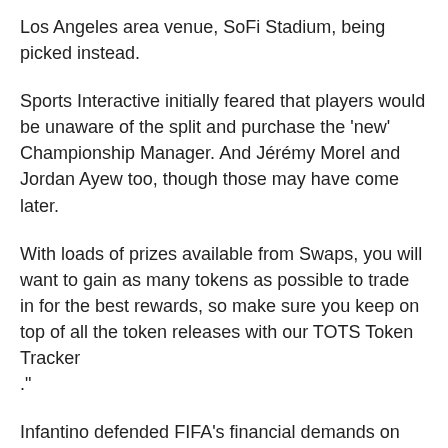Los Angeles area venue, SoFi Stadium, being picked instead.
Sports Interactive initially feared that players would be unaware of the split and purchase the 'new' Championship Manager. And Jérémy Morel and Jordan Ayew too, though those may have come later.
With loads of prizes available from Swaps, you will want to gain as many tokens as possible to trade in for the best rewards, so make sure you keep on top of all the token releases with our TOTS Token Tracker ."
Infantino defended FIFA's financial demands on bidding cities and states, which included sales tax exemptions. This is the stuff of career mode dreams. Gomes, O Ejara , really great talent's just stripped of their